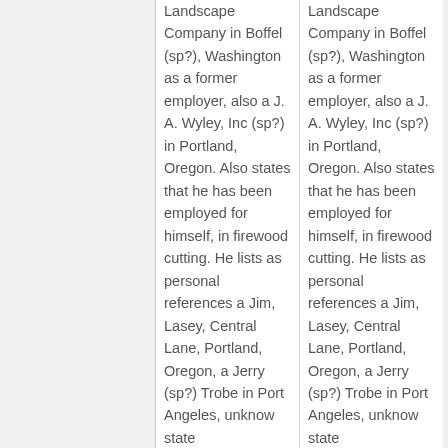Landscape Company in Boffel (sp?), Washington as a former employer, also a J. A. Wyley, Inc (sp?) in Portland, Oregon. Also states that he has been employed for himself, in firewood cutting. He lists as personal references a Jim, Lasey, Central Lane, Portland, Oregon, a Jerry (sp?) Trobe in Port Angeles, unknow state
Landscape Company in Boffel (sp?), Washington as a former employer, also a J. A. Wyley, Inc (sp?) in Portland, Oregon. Also states that he has been employed for himself, in firewood cutting. He lists as personal references a Jim, Lasey, Central Lane, Portland, Oregon, a Jerry (sp?) Trobe in Port Angeles, unknow state